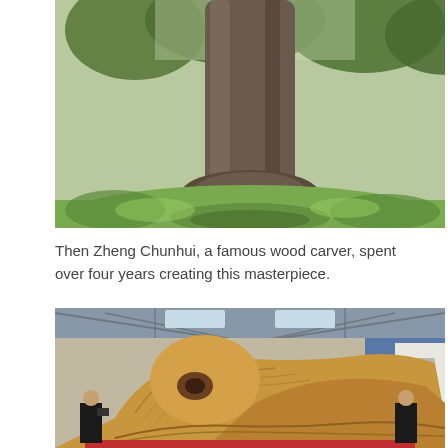[Figure (photo): A large tree trunk photographed in a green outdoor setting with grass and surrounding vegetation in the background.]
Then Zheng Chunhui, a famous wood carver, spent over four years creating this masterpiece.
[Figure (photo): A massive wood carving sculpture displayed in an exhibition hall. The carving depicts an intricate scene with detailed figures and textures. Two people stand near it for scale.]